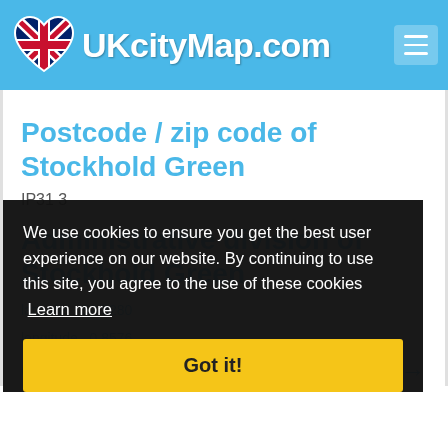UKcityMap.com
Postcode / zip code of Stockhold Green
IP31 3
Administrative division of Stockhold Green
We use cookies to ensure you get the best user experience on our website. By continuing to use this site, you agree to the use of these cookies  Learn more
Got it!
latitude  52.3280
longitude  0.8576
Online Map of Stockhold Green →